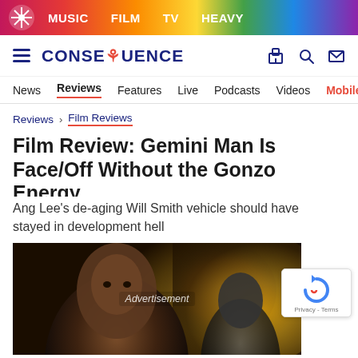MUSIC  FILM  TV  HEAVY
CONSEQUENCE
News  Reviews  Features  Live  Podcasts  Videos  Mobile A
Reviews > Film Reviews
Film Review: Gemini Man Is Face/Off Without the Gonzo Energy
Ang Lee's de-aging Will Smith vehicle should have stayed in development hell
[Figure (photo): Scene from Gemini Man film showing Will Smith in foreground with another figure in background, set against gold/dark background. Advertisement watermark visible in center.]